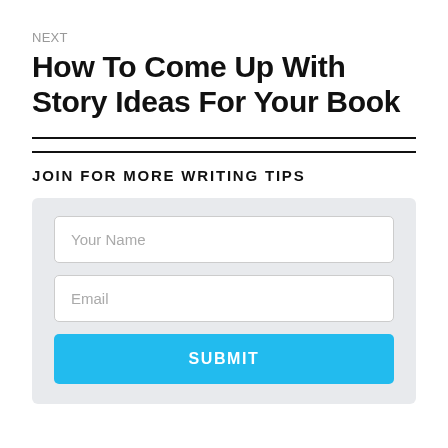NEXT
How To Come Up With Story Ideas For Your Book
JOIN FOR MORE WRITING TIPS
[Figure (other): Web form with Your Name input, Email input, and a cyan SUBMIT button on a light gray background]